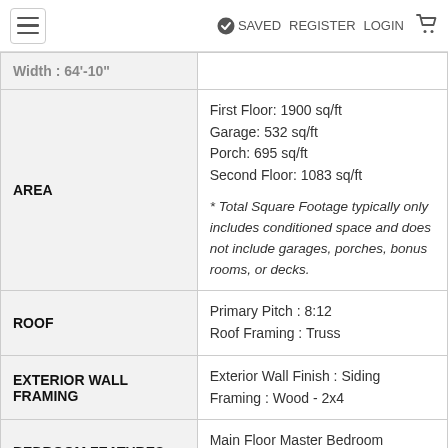≡  ✓ SAVED  REGISTER  LOGIN  🛒
| Category | Details |
| --- | --- |
| (partial) Width : 64'-10" |  |
| AREA | First Floor: 1900 sq/ft
Garage: 532 sq/ft
Porch: 695 sq/ft
Second Floor: 1083 sq/ft
* Total Square Footage typically only includes conditioned space and does not include garages, porches, bonus rooms, or decks. |
| ROOF | Primary Pitch : 8:12
Roof Framing : Truss |
| EXTERIOR WALL FRAMING | Exterior Wall Finish : Siding
Framing : Wood - 2x4 |
| BEDROOM FEATURES | Main Floor Master Bedroom
(partial) |